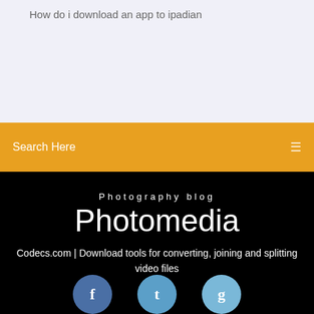How do i download an app to ipadian
Search Here
Photography blog
Photomedia
Codecs.com | Download tools for converting, joining and splitting video files
[Figure (illustration): Three social media icon circles (Facebook, Twitter/Messenger, Google+) at bottom of black section]